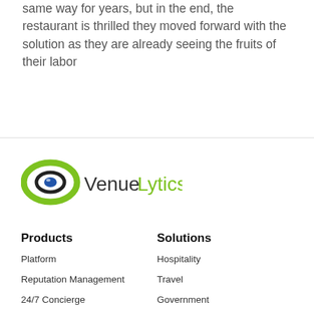same way for years, but in the end, the restaurant is thrilled they moved forward with the solution as they are already seeing the fruits of their labor
[Figure (logo): VenueLytics logo with green oval/eye icon and dark text]
Products
Solutions
Platform
Hospitality
Reputation Management
Travel
24/7 Concierge
Government